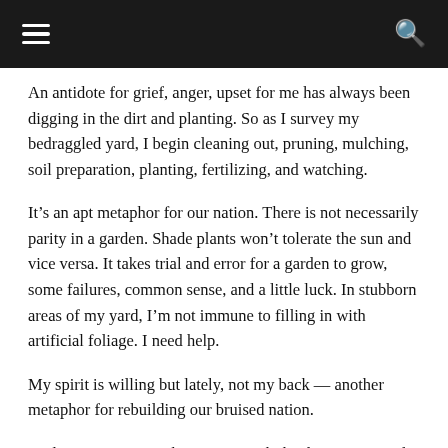≡  🔍
An antidote for grief, anger, upset for me has always been digging in the dirt and planting. So as I survey my bedraggled yard, I begin cleaning out, pruning, mulching, soil preparation, planting, fertilizing, and watching.
It's an apt metaphor for our nation. There is not necessarily parity in a garden. Shade plants won't tolerate the sun and vice versa. It takes trial and error for a garden to grow, some failures, common sense, and a little luck. In stubborn areas of my yard, I'm not immune to filling in with artificial foliage. I need help.
My spirit is willing but lately, not my back — another metaphor for rebuilding our bruised nation.
And so I am starting the process with the digging out and pruning. I'm smiling at the flats of plants and flowers that will go into the ground. I'm humming that wonderful